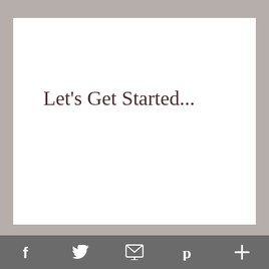Let's Get Started...
Social sharing bar with icons: Facebook (f), Twitter (bird), Email (envelope), Pinterest (P), More (+)